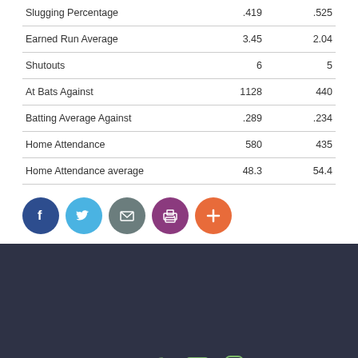| Slugging Percentage | .419 | .525 |
| Earned Run Average | 3.45 | 2.04 |
| Shutouts | 6 | 5 |
| At Bats Against | 1128 | 440 |
| Batting Average Against | .289 | .234 |
| Home Attendance | 580 | 435 |
| Home Attendance average | 48.3 | 54.4 |
[Figure (infographic): Social share buttons: Facebook (blue), Twitter (light blue), Email (gray), Print (purple), Add/Plus (orange)]
Dark footer bar with social media icons: Facebook, Twitter, YouTube, Instagram